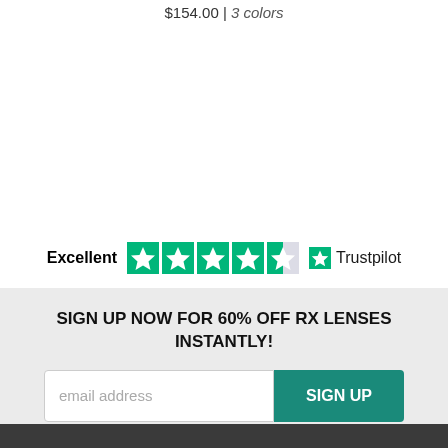$154.00  |  3 colors
[Figure (infographic): Trustpilot rating: Excellent with 4.5 stars and Trustpilot logo]
SIGN UP NOW FOR 60% OFF RX LENSES INSTANTLY!
email address  SIGN UP